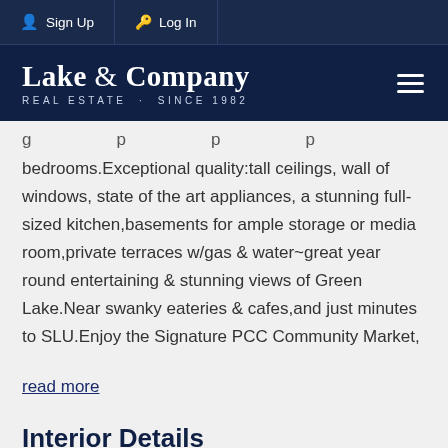Sign Up  Log In
[Figure (logo): Lake & Company Real Estate logo with text 'REAL ESTATE · SINCE 1982' and hamburger menu icon]
bedrooms.Exceptional quality:tall ceilings, wall of windows, state of the art appliances, a stunning full-sized kitchen,basements for ample storage or media room,private terraces w/gas & water~great year round entertaining & stunning views of Green Lake.Near swanky eateries & cafes,and just minutes to SLU.Enjoy the Signature PCC Community Market,
read more
Interior Details
Beds & Baths